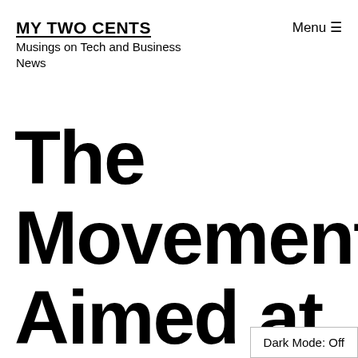MY TWO CENTS
Musings on Tech and Business News
The Movement Aimed at Freeing Us
Dark Mode: Off